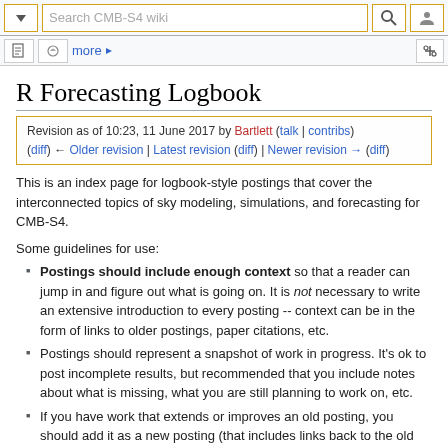Search CMB-S4 wiki
Revision as of 10:23, 11 June 2017 by Bartlett (talk | contribs)
(diff) ← Older revision | Latest revision (diff) | Newer revision → (diff)
R Forecasting Logbook
This is an index page for logbook-style postings that cover the interconnected topics of sky modeling, simulations, and forecasting for CMB-S4.
Some guidelines for use:
Postings should include enough context so that a reader can jump in and figure out what is going on. It is not necessary to write an extensive introduction to every posting -- context can be in the form of links to older postings, paper citations, etc.
Postings should represent a snapshot of work in progress. It's ok to post incomplete results, but recommended that you include notes about what is missing, what you are still planning to work on, etc.
If you have work that extends or improves an old posting, you should add it as a new posting (that includes links back to the old work as appropriate). Don't update old postings, as they should provide a